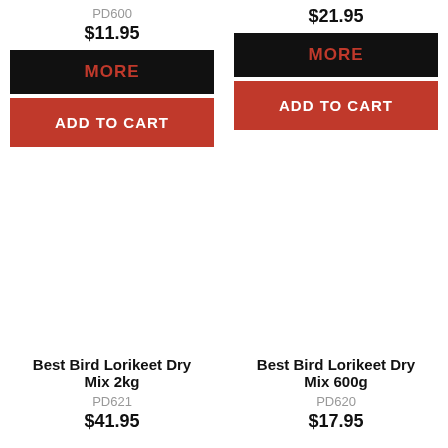PD600
$11.95
MORE
ADD TO CART
$21.95
MORE
ADD TO CART
Best Bird Lorikeet Dry Mix 2kg
PD621
$41.95
Best Bird Lorikeet Dry Mix 600g
PD620
$17.95